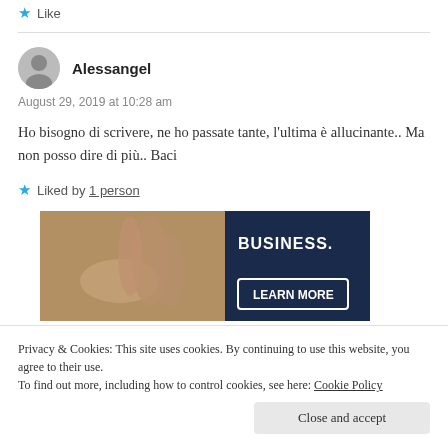★ Like
Alessangel
August 29, 2019 at 10:28 am
Ho bisogno di scrivere, ne ho passate tante, l'ultima è allucinante.. Ma non posso dire di più.. Baci
★ Liked by 1 person
[Figure (photo): Advertisement banner showing hands and text 'BUSINESS. LEARN MORE']
Privacy & Cookies: This site uses cookies. By continuing to use this website, you agree to their use.
To find out more, including how to control cookies, see here: Cookie Policy
Close and accept